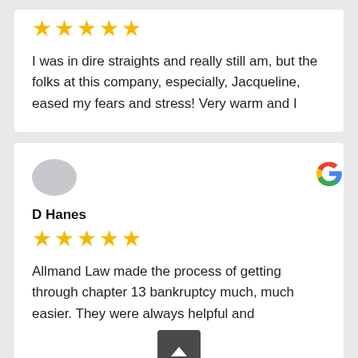[Figure (other): Five gold star rating icons]
I was in dire straights and really still am, but the folks at this company, especially, Jacqueline, eased my fears and stress! Very warm and I
[Figure (other): Gray oval avatar placeholder image]
D Hanes
[Figure (logo): Google G logo]
[Figure (other): Five gold star rating icons]
Allmand Law made the process of getting through chapter 13 bankruptcy much, much easier. They were always helpful and